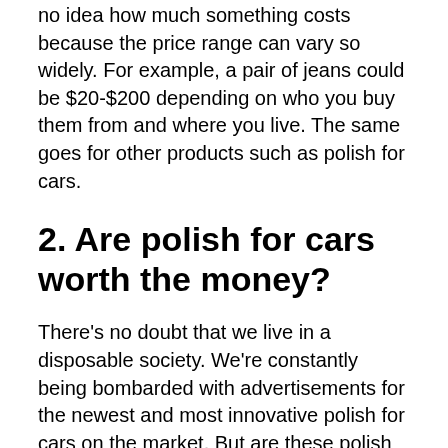no idea how much something costs because the price range can vary so widely. For example, a pair of jeans could be $20-$200 depending on who you buy them from and where you live. The same goes for other products such as polish for cars.
2. Are polish for cars worth the money?
There's no doubt that we live in a disposable society. We're constantly being bombarded with advertisements for the newest and most innovative polish for cars on the market. But are these polish for cars really worth our hard-earned money? Some of them definitely are if you can choose carefully. But there are too many on the